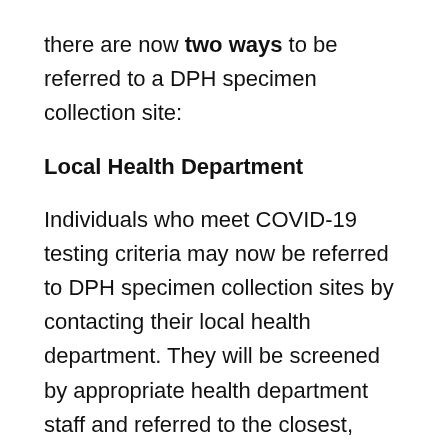there are now two ways to be referred to a DPH specimen collection site:
Local Health Department
Individuals who meet COVID-19 testing criteria may now be referred to DPH specimen collection sites by contacting their local health department. They will be screened by appropriate health department staff and referred to the closest, most convenient specimen collection site.